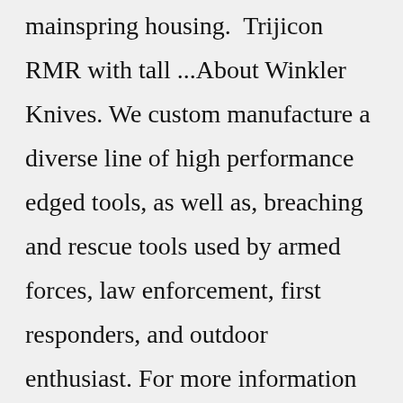mainspring housing.  Trijicon RMR with tall ...About Winkler Knives. We custom manufacture a diverse line of high performance edged tools, as well as, breaching and rescue tools used by armed forces, law enforcement, first responders, and outdoor enthusiast. For more information or to place an order, email info@winklerknives.com or call 828.262.3691.Jul 25, 2022 · New Ads Handguns Rifles Shotguns Parts &